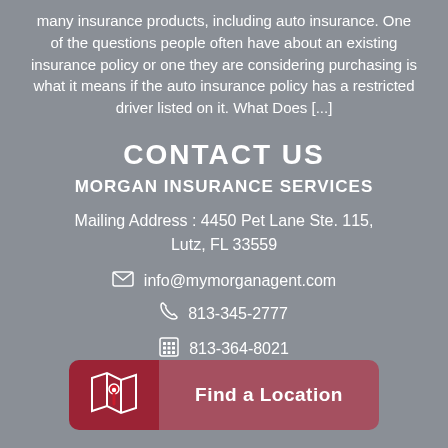many insurance products, including auto insurance. One of the questions people often have about an existing insurance policy or one they are considering purchasing is what it means if the auto insurance policy has a restricted driver listed on it. What Does [...]
CONTACT US
MORGAN INSURANCE SERVICES
Mailing Address : 4450 Pet Lane Ste. 115, Lutz, FL 33559
info@mymorganagent.com
813-345-2777
813-364-8021
[Figure (other): Find a Location button with red map icon on left and darker red text area on right reading 'Find a Location']